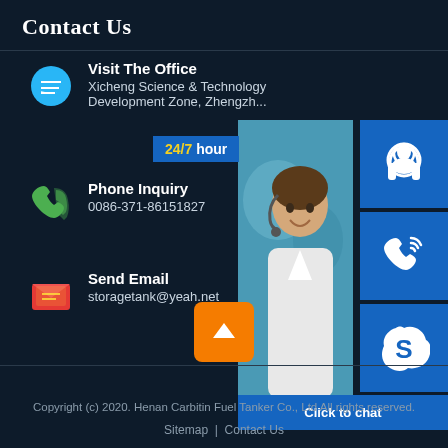Contact Us
Visit The Office
Xicheng Science & Technology Development Zone, Zhengzh...
Phone Inquiry
0086-371-86151827
Send Email
storagetank@yeah.net
[Figure (infographic): Contact support panel showing a customer service representative photo with '24/7 hour' label, three blue icon buttons (headset, phone, Skype), and a 'Click to chat' button]
Copyright (c) 2020. Henan Carbitin Fuel Tanker Co., Ltd All rights reserved.
Sitemap  |  Contact Us